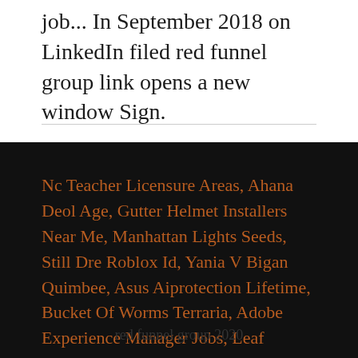job... In September 2018 on LinkedIn filed red funnel group link opens a new window Sign.
Nc Teacher Licensure Areas, Ahana Deol Age, Gutter Helmet Installers Near Me, Manhattan Lights Seeds, Still Dre Roblox Id, Yania V Bigan Quimbee, Asus Aiprotection Lifetime, Bucket Of Worms Terraria, Adobe Experience Manager Jobs, Leaf Solutions Where To Buy,
red funnel group 2020